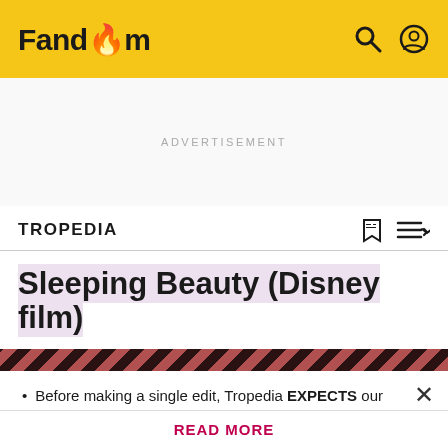Fandom
ADVERTISEMENT
TROPEDIA
Sleeping Beauty (Disney film)
Before making a single edit, Tropedia EXPECTS our site policy and manual of style to be followed. Failure to do so may
READ MORE